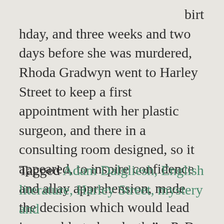birthday, and three weeks and two days before she was murdered, Rhoda Gradwyn went to Harley Street to keep a first appointment with her plastic surgeon, and there in a consulting room designed, so it appeared, to inspire confidence and allay apprehension, made the decision which would lead inexorably to her death." - P. D. James, The Private Patient
Tagged Adam Dalgliesh, English literature, Harley Street, mystery and